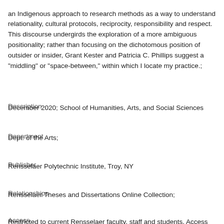an Indigenous approach to research methods as a way to understand relationality, cultural protocols, reciprocity, responsibility and respect. This discourse undergirds the exploration of a more ambiguous positionality; rather than focusing on the dichotomous position of outsider or insider, Grant Kester and Patricia C. Phillips suggest a "middling" or "space-between," within which I locate my practice.;
Description
December 2020; School of Humanities, Arts, and Social Sciences
Department
Dept. of the Arts;
Publisher
Rensselaer Polytechnic Institute, Troy, NY
Relationships
Rensselaer Theses and Dissertations Online Collection;
Access
Restricted to current Rensselaer faculty, staff and students. Access